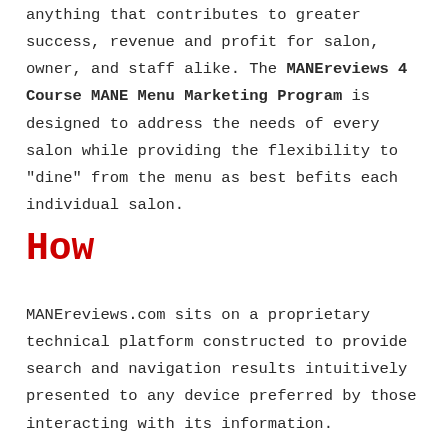anything that contributes to greater success, revenue and profit for salon, owner, and staff alike. The MANEreviews 4 Course MANE Menu Marketing Program is designed to address the needs of every salon while providing the flexibility to "dine" from the menu as best befits each individual salon.
How
MANEreviews.com sits on a proprietary technical platform constructed to provide search and navigation results intuitively presented to any device preferred by those interacting with its information.